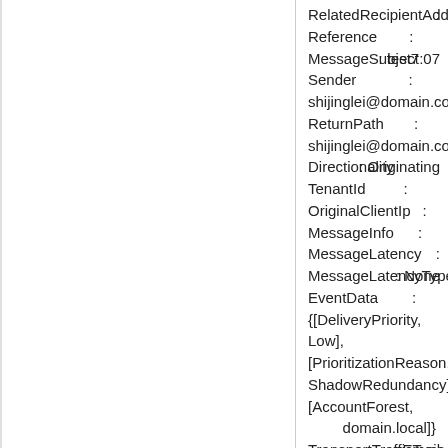RelatedRecipientAddress :
Reference :
MessageSubject : test7:07
Sender :
shijinglei@domain.com
ReturnPath :
shijinglei@domain.com
Directionality : Originating
TenantId :
OriginalClientIp :
MessageInfo :
MessageLatency :
MessageLatencyType : None
EventData :
{[DeliveryPriority, Low],
[PrioritizationReason, ShadowRedundancy],
[AccountForest,
                    domain.local]}
TransportTrafficType : Email
SchemaVersion :
15.01.1466.003
RunspaceId : hh9e6ch0...